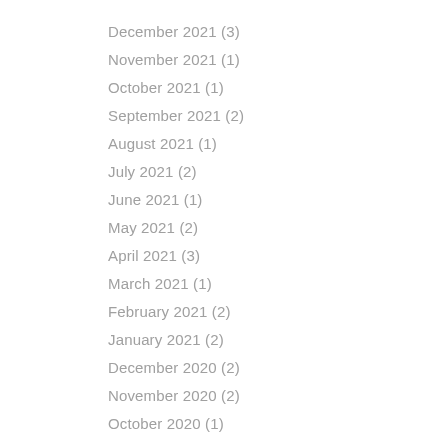December 2021 (3)
November 2021 (1)
October 2021 (1)
September 2021 (2)
August 2021 (1)
July 2021 (2)
June 2021 (1)
May 2021 (2)
April 2021 (3)
March 2021 (1)
February 2021 (2)
January 2021 (2)
December 2020 (2)
November 2020 (2)
October 2020 (1)